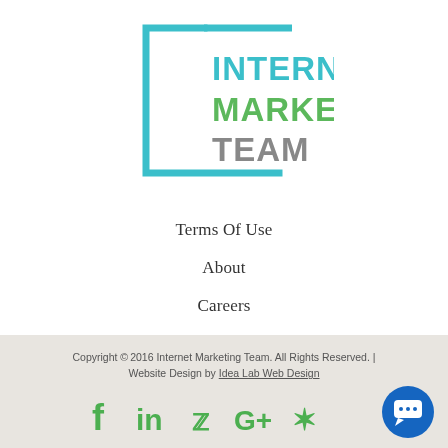[Figure (logo): Internet Marketing Team logo: teal bracket outline on left and bottom, with text INTERNET in teal, MARKETING in green, TEAM in gray]
Terms Of Use
About
Careers
Unsubscribe
Copyright © 2016 Internet Marketing Team. All Rights Reserved. | Website Design by Idea Lab Web Design
[Figure (infographic): Social media icons: Facebook, LinkedIn, Twitter, Google+, Yelp — all in green. Blue circular chat button bottom right.]